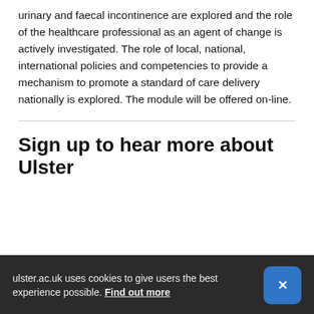urinary and faecal incontinence are explored and the role of the healthcare professional as an agent of change is actively investigated. The role of local, national, international policies and competencies to provide a mechanism to promote a standard of care delivery nationally is explored. The module will be offered on-line.
Sign up to hear more about Ulster
ulster.ac.uk uses cookies to give users the best experience possible. Find out more